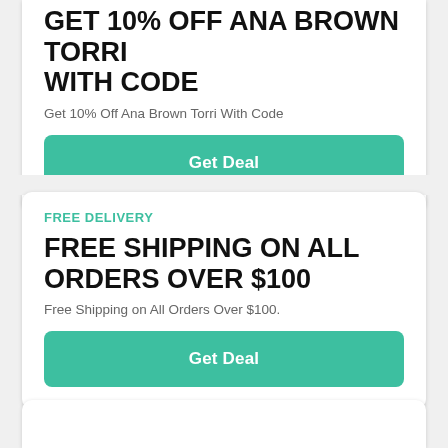GET 10% OFF ANA BROWN TORRI WITH CODE
Get 10% Off Ana Brown Torri With Code
Get Deal
FREE DELIVERY
FREE SHIPPING ON ALL ORDERS OVER $100
Free Shipping on All Orders Over $100.
Get Deal